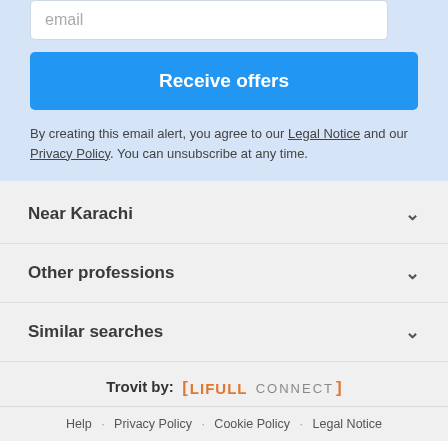email
Receive offers
By creating this email alert, you agree to our Legal Notice and our Privacy Policy. You can unsubscribe at any time.
Near Karachi
Other professions
Similar searches
Trovit by: LIFULL CONNECT
Help · Privacy Policy · Cookie Policy · Legal Notice